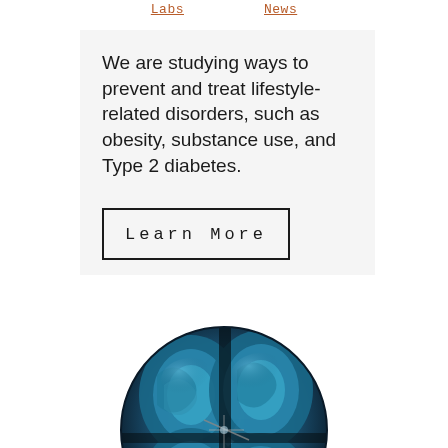Labs  News
We are studying ways to prevent and treat lifestyle-related disorders, such as obesity, substance use, and Type 2 diabetes.
Learn More
[Figure (photo): Circular cropped MRI brain scan image showing multiple brain cross-sections in blue tones with what appears to be medical instrument overlay]